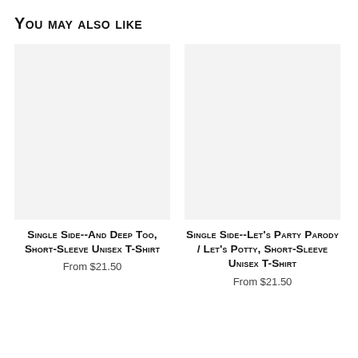You may also like
[Figure (photo): Light gray product image placeholder for first t-shirt]
SINGLE SIDE--And Deep Too, Short-Sleeve Unisex T-Shirt
From $21.50
[Figure (photo): Light gray product image placeholder for second t-shirt]
SINGLE SIDE--Let's Party Parody / Let's Potty, Short-Sleeve Unisex T-Shirt
From $21.50